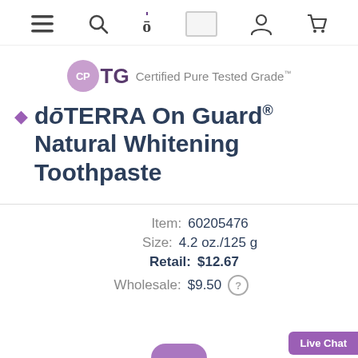[Figure (screenshot): Mobile app navigation bar with hamburger menu, search, logo/counter, image, account, and cart icons]
[Figure (logo): CPTG Certified Pure Tested Grade logo with purple circle badge]
dōTERRA On Guard® Natural Whitening Toothpaste
Item: 60205476
Size: 4.2 oz./125 g
Retail: $12.67
Wholesale: $9.50